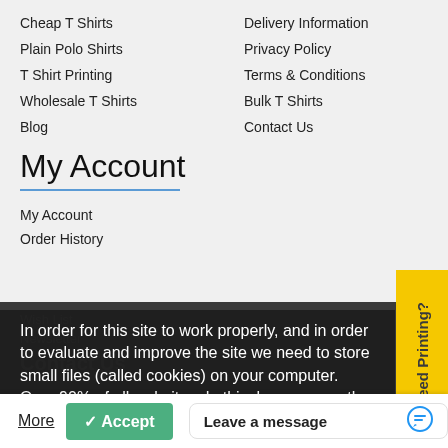Cheap T Shirts
Plain Polo Shirts
T Shirt Printing
Wholesale T Shirts
Blog
Delivery Information
Privacy Policy
Terms & Conditions
Bulk T Shirts
Contact Us
My Account
My Account
Order History
Wish List
Newsletter
Contact Us
In order for this site to work properly, and in order to evaluate and improve the site we need to store small files (called cookies) on your computer. Over 90% of all websites do this, however, on the 25th of May 2018 we are required by EU regulations to obtain your consent first. What do you say?  Read More
Leave a message